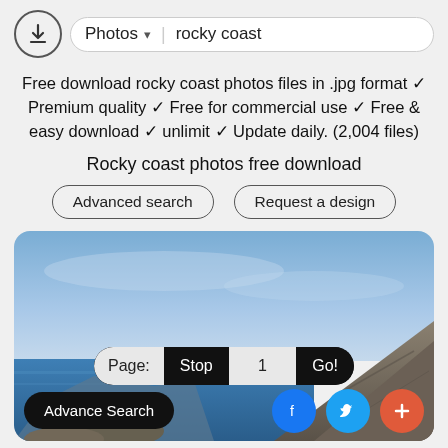Photos ▾  rocky coast
Free download rocky coast photos files in .jpg format ✓ Premium quality ✓ Free for commercial use ✓ Free & easy download ✓ unlimit ✓ Update daily. (2,004 files)
Rocky coast photos free download
Advanced search   Request a design
[Figure (photo): Rocky coastline with blue sky and rocky cliffs by the sea]
Page:  Stop  1  Go!
Advance Search